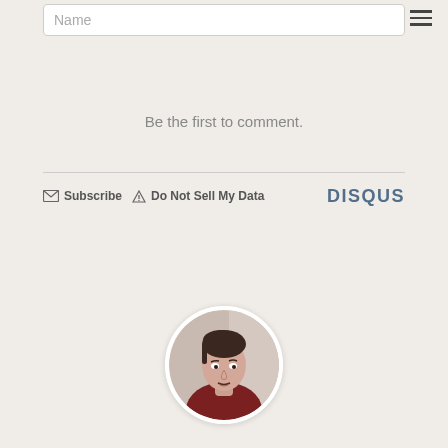Name
Be the first to comment.
Subscribe  Do Not Sell My Data  DISQUS
[Figure (photo): Circular profile photo of a young man with dark hair wearing a dark red shirt, with a white circular border]